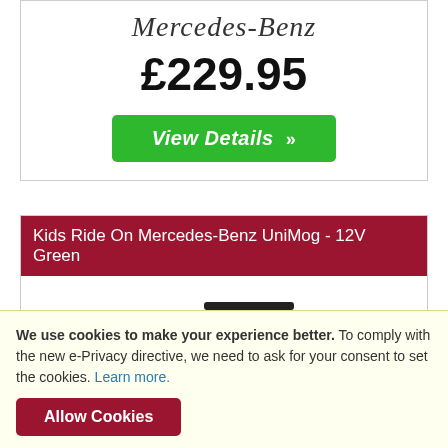Mercedes-Benz
£229.95
View Details »
Kids Ride On Mercedes-Benz UniMog - 12V Green
[Figure (photo): Green and black Mercedes-Benz UniMog kids ride-on toy vehicle]
We use cookies to make your experience better. To comply with the new e-Privacy directive, we need to ask for your consent to set the cookies. Learn more.
Allow Cookies